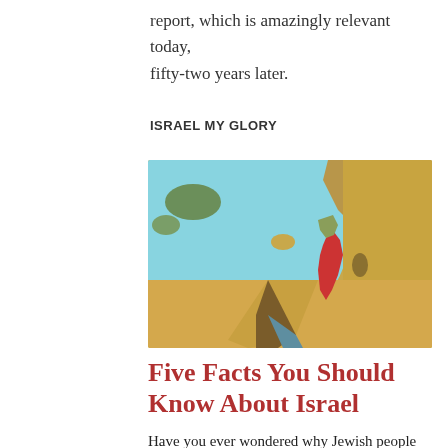report, which is amazingly relevant today, fifty-two years later.
ISRAEL MY GLORY
[Figure (map): Aerial/satellite map view of the Middle East region, with Israel highlighted in red, surrounded by desert (sandy brown) terrain and the Mediterranean Sea (light blue). Shows surrounding countries including Egypt, Jordan, Syria, and Lebanon.]
Five Facts You Should Know About Israel
Have you ever wondered why Jewish people